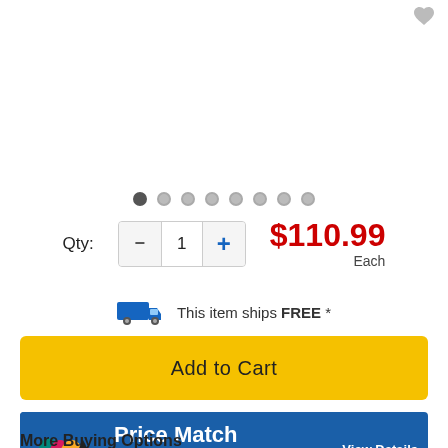[Figure (other): Wishlist/save icon (heart shape) in top right corner]
[Figure (other): Image carousel navigation dots — 8 dots, first one filled/active]
Qty: 1
$110.99 Each
This item ships FREE *
Add to Cart
[Figure (infographic): Price Match Promise banner. Logo with colored ink drops (teal, magenta, yellow, black). Text: Price Match Promise. See a better price? Call 800.982.3400. View Details. Select websites only.]
More Buying Options